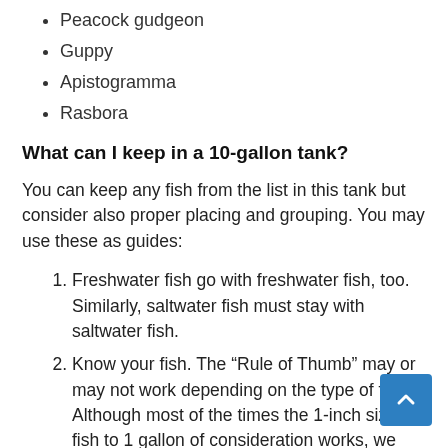Peacock gudgeon
Guppy
Apistogramma
Rasbora
What can I keep in a 10-gallon tank?
You can keep any fish from the list in this tank but consider also proper placing and grouping. You may use these as guides:
Freshwater fish go with freshwater fish, too. Similarly, saltwater fish must stay with saltwater fish.
Know your fish. The “Rule of Thumb” may or may not work depending on the type of fish. Although most of the times the 1-inch size of fish to 1 gallon of consideration works, we must also consider the behavior and nature of the fish. Some are aggressive